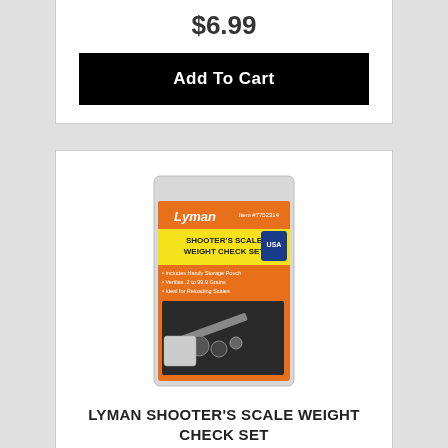$6.99
Add To Cart
[Figure (photo): Lyman Shooter's Scale Weight Check Set product package on orange background]
LYMAN SHOOTER'S SCALE WEIGHT CHECK SET
Lyman
$38.99